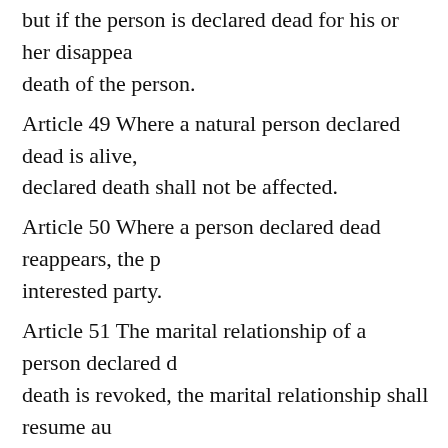but if the person is declared dead for his or her disappearance, death of the person.
Article 49 Where a natural person declared dead is alive, declared death shall not be affected.
Article 50 Where a person declared dead reappears, the interested party.
Article 51 The marital relationship of a person declared death is revoked, the marital relationship shall resume au spouse has remarried or submits to the marriage registra
Article 52 Where a child of a person declared dead is leg shall not claim nullity of the adoption on the ground that
Article 53 Where the declaration of death of a person is devolved to other parties to civil legal relationships in ac shall be indemnified appropriately.